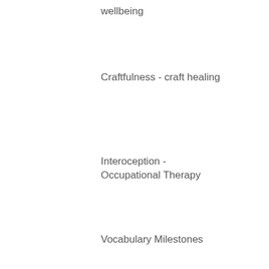wellbeing
Craftfulness - craft healing
Interoception -
Occupational Therapy
Vocabulary Milestones